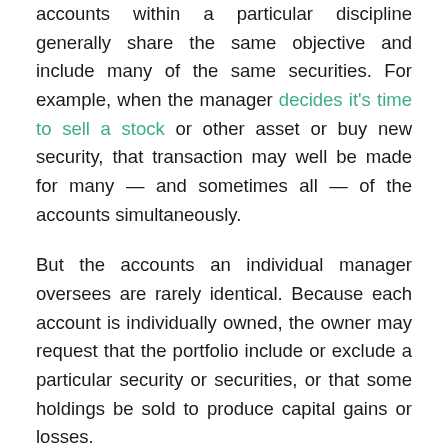accounts within a particular discipline generally share the same objective and include many of the same securities. For example, when the manager decides it's time to sell a stock or other asset or buy new security, that transaction may well be made for many — and sometimes all — of the accounts simultaneously.
But the accounts an individual manager oversees are rarely identical. Because each account is individually owned, the owner may request that the portfolio include or exclude a particular security or securities, or that some holdings be sold to produce capital gains or losses.